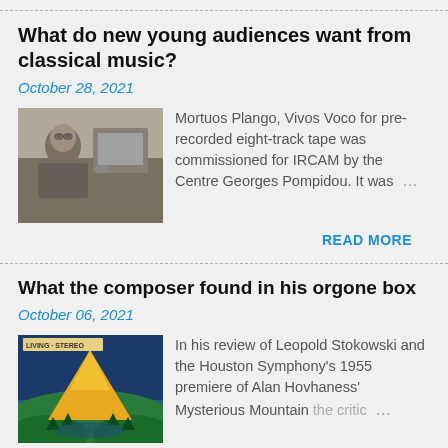What do new young audiences want from classical music?
October 28, 2021
[Figure (photo): Black and white photo of an elderly composer or musician sitting at a desk with equipment]
Mortuos Plango, Vivos Voco for pre-recorded eight-track tape was commissioned for IRCAM by the Centre Georges Pompidou. It was ...
READ MORE
What the composer found in his orgone box
October 06, 2021
[Figure (photo): Album cover showing Living Stereo label with colorful illustration of a mountain with yellow triangle shape]
In his review of Leopold Stokowski and the Houston Symphony's 1955 premiere of Alan Hovhaness' Mysterious Mountain the critic ...